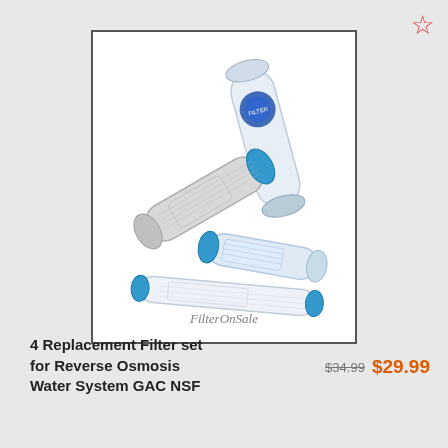[Figure (photo): Product photo of 4 replacement water filter cartridges for reverse osmosis system, arranged in a crossed/scattered layout on white background with 'FilterOnSale' watermark text. Filters are white and light gray cylinders with blue accents.]
4 Replacement Filter set for Reverse Osmosis Water System GAC NSF
$34.99  $29.99